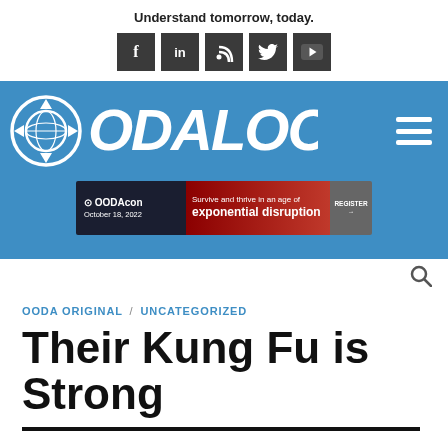Understand tomorrow, today.
[Figure (screenshot): Social media icons bar: Facebook, LinkedIn, RSS, Twitter, YouTube on dark grey squares]
[Figure (logo): OODA Loop logo on blue background with circular arrows icon and globe icon, hamburger menu icon on right]
[Figure (infographic): OODAcon banner ad: Survive and thrive in an age of exponential disruption, October 18, 2022, REGISTER button]
OODA ORIGINAL / UNCATEGORIZED
Their Kung Fu is Strong